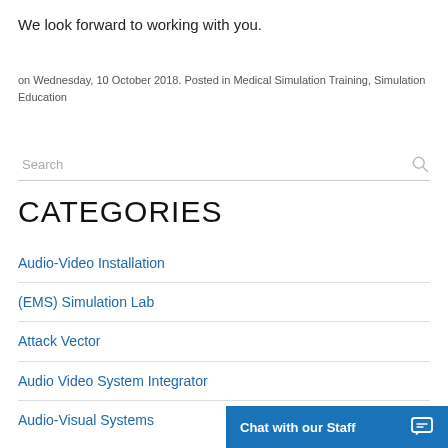We look forward to working with you.
on Wednesday, 10 October 2018. Posted in Medical Simulation Training, Simulation Education
Search
CATEGORIES
Audio-Video Installation
(EMS) Simulation Lab
Attack Vector
Audio Video System Integrator
Audio-Visual Systems
Chat with our Staff